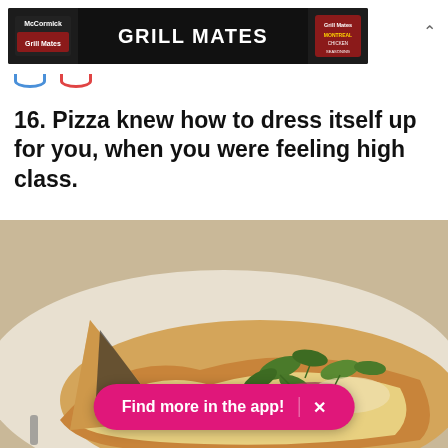[Figure (photo): McCormick Grill Mates advertisement banner with dark background, showing grilled food on left, 'GRILL MATES' text in center, and product packaging on right]
16. Pizza knew how to dress itself up for you, when you were feeling high class.
[Figure (photo): Close-up photo of an upscale pizza with arugula greens, prosciutto, black olives, and white cheese on a thin crust, served on a white plate]
Find more in the app!